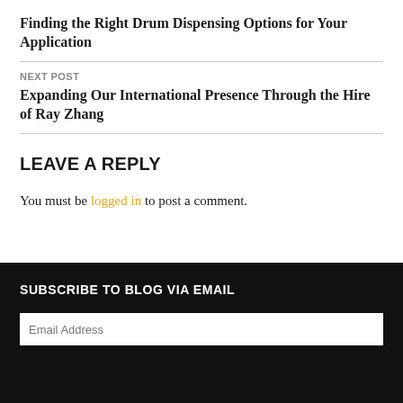Finding the Right Drum Dispensing Options for Your Application
NEXT POST
Expanding Our International Presence Through the Hire of Ray Zhang
LEAVE A REPLY
You must be logged in to post a comment.
SUBSCRIBE TO BLOG VIA EMAIL
Email Address